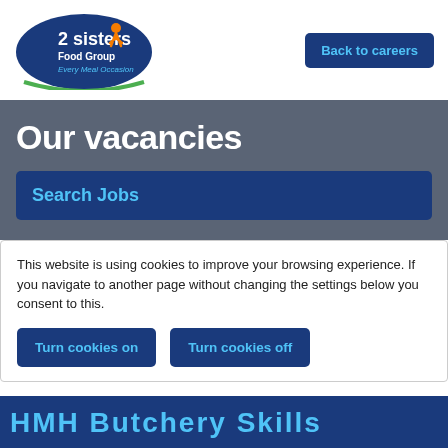[Figure (logo): 2 Sisters Food Group logo — white oval with dark blue background, orange figure, '2 sisters' in white, 'Food Group' in white, 'Every Meal Occasion' in italic teal/green]
Back to careers
Our vacancies
Search Jobs
This website is using cookies to improve your browsing experience. If you navigate to another page without changing the settings below you consent to this.
Turn cookies on
Turn cookies off
HMH Butchery Skills